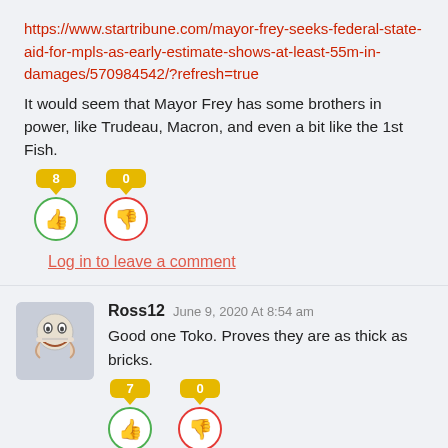https://www.startribune.com/mayor-frey-seeks-federal-state-aid-for-mpls-as-early-estimate-shows-at-least-55m-in-damages/570984542/?refresh=true
It would seem that Mayor Frey has some brothers in power, like Trudeau, Macron, and even a bit like the 1st Fish.
[Figure (infographic): Vote buttons: thumbs up with badge showing 8, thumbs down with badge showing 0]
Log in to leave a comment
[Figure (photo): User avatar image showing a cartoon/meme face]
Ross12 June 9, 2020 At 8:54 am
Good one Toko. Proves they are as thick as bricks.
[Figure (infographic): Vote buttons: thumbs up with badge showing 7, thumbs down with badge showing 0]